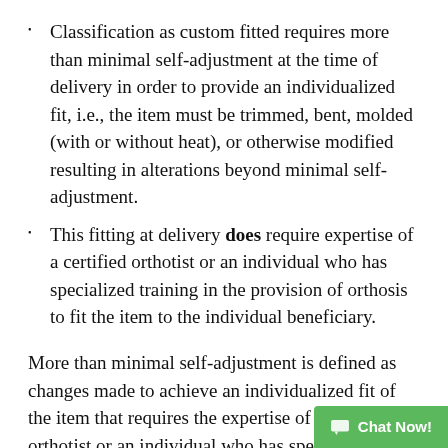Classification as custom fitted requires more than minimal self-adjustment at the time of delivery in order to provide an individualized fit, i.e., the item must be trimmed, bent, molded (with or without heat), or otherwise modified resulting in alterations beyond minimal self-adjustment.
This fitting at delivery does require expertise of a certified orthotist or an individual who has specialized training in the provision of orthosis to fit the item to the individual beneficiary.
More than minimal self-adjustment is defined as changes made to achieve an individualized fit of the item that requires the expertise of a certified orthotist or an individual who has specialized training in the provision of orthotics in compliance with applicable Federal and State licensure and regulatory